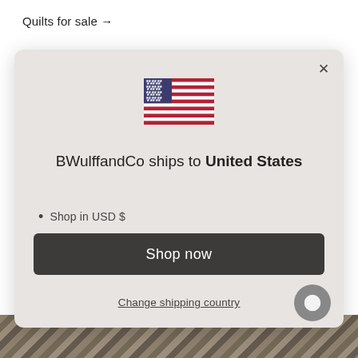Quilts for sale →
[Figure (screenshot): Modal dialog box on an e-commerce website. Contains a US flag icon, text 'BWulffandCo ships to United States', bullet points 'Shop in USD $' and 'Get shipping options for United States', a dark 'Shop now' button, and a 'Change shipping country' underlined link. A chat bubble icon appears at lower right.]
[Figure (photo): Bottom portion of a textured woven quilt pattern in brown and tan tones, partially visible behind the modal.]